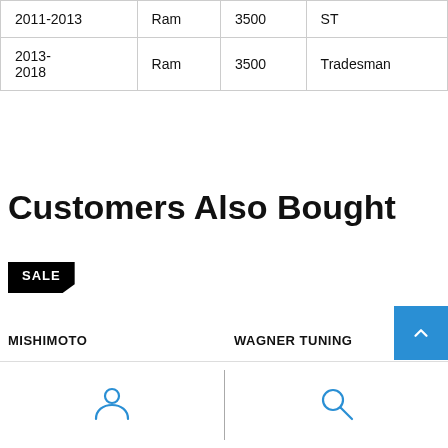| Year | Make | Model | Trim |
| --- | --- | --- | --- |
| 2011-2013 | Ram | 3500 | ST |
| 2013-2018 | Ram | 3500 | Tradesman |
Customers Also Bought
SALE
MISHIMOTO
WAGNER TUNING